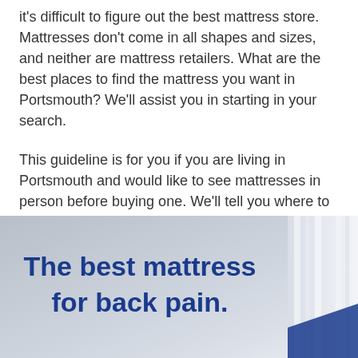it's difficult to figure out the best mattress store. Mattresses don't come in all shapes and sizes, and neither are mattress retailers. What are the best places to find the mattress you want in Portsmouth? We'll assist you in starting in your search.
This guideline is for you if you are living in Portsmouth and would like to see mattresses in person before buying one. We'll tell you where to find the most exciting and famous companies, as well as the most reputable mattress retailers in your neighborhood.
[Figure (illustration): Advertisement image with blue bold text reading 'The best mattress for back pain.' on a light gray gradient background with white column/pillar decorative elements on the right side.]